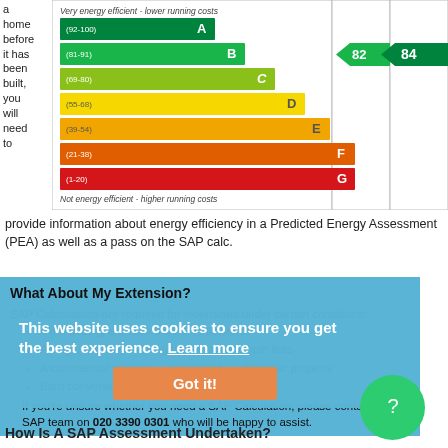a home before it has been built, you will need to
[Figure (infographic): Energy Performance Certificate (EPC) chart showing ratings from A (92-100, dark green) to G (1-20, red), with two arrow indicators showing values 82 and 84 in the B band range. Labels: 'Very energy efficient - lower running costs' at top, 'Not energy efficient - higher running costs' at bottom.]
provide information about energy efficiency in a Predicted Energy Assessment (PEA) as well as a pass on the SAP calc.
What About My Extension?
SAP Calculations are required for extensions under certain conditions:
If the glazing exceeds the 25% allowance
A single dwelling is being turned into multiple flats
A commercial property is changing to a domestic property
Barn conversions
If you're unsure whether you need a SAP Calculation, please contact our SAP team on 020 3390 0301 who will be happy to assist.
This website uses cookies to ensure you get the best experience. Learn more
Got it!
How Is A SAP Assessment Undertaken?